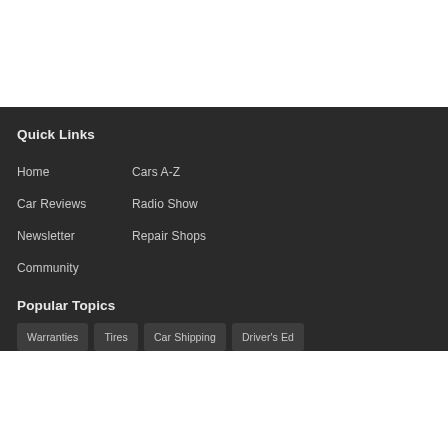Quick Links
Home
Cars A-Z
Car Reviews
Radio Show
Newsletter
Repair Shops
Community
Popular Topics
Warranties
Tires
Car Shipping
Driver's Ed